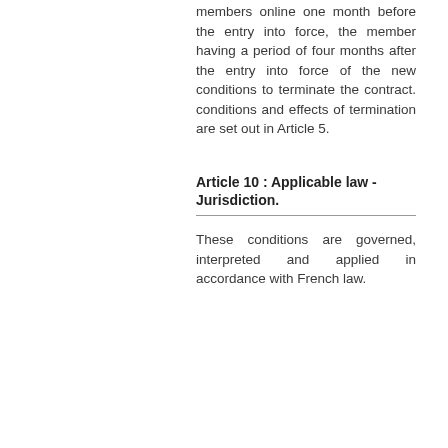members online one month before the entry into force, the member having a period of four months after the entry into force of the new conditions to terminate the contract. conditions and effects of termination are set out in Article 5.
Article 10 : Applicable law - Jurisdiction.
These conditions are governed, interpreted and applied in accordance with French law.